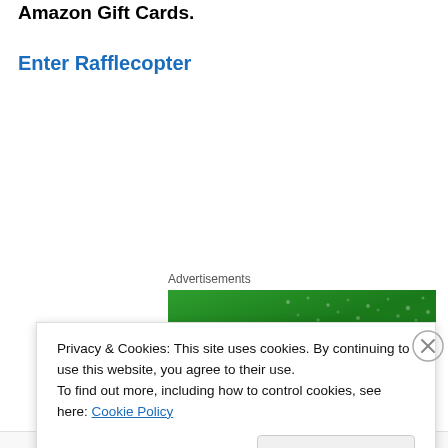Amazon Gift Cards.
Enter Rafflecopter
Advertisements
[Figure (illustration): Green advertisement banner with dots pattern and circular logo element at bottom left]
Privacy & Cookies: This site uses cookies. By continuing to use this website, you agree to their use.
To find out more, including how to control cookies, see here: Cookie Policy
Close and accept